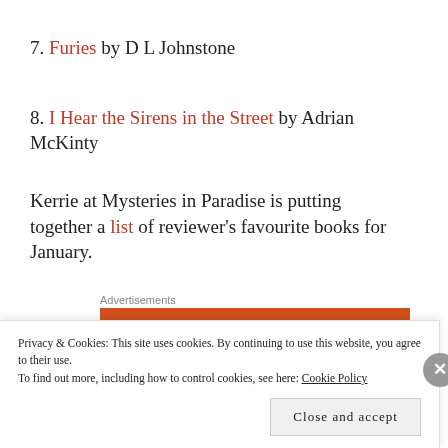7. Furies by D L Johnstone
8. I Hear the Sirens in the Street by Adrian McKinty
Kerrie at Mysteries in Paradise is putting together a list of reviewer's favourite books for January.
Advertisements
[Figure (other): Orange advertisement banner with white bold text: 'Search, browse, and email with more privacy.']
Privacy & Cookies: This site uses cookies. By continuing to use this website, you agree to their use.
To find out more, including how to control cookies, see here: Cookie Policy
Close and accept